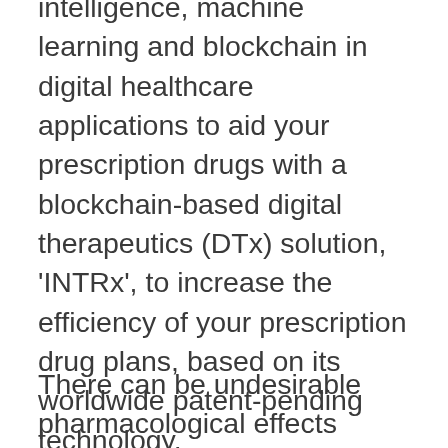intelligence, machine learning and blockchain in digital healthcare applications to aid your prescription drugs with a blockchain-based digital therapeutics (DTx) solution, 'INTRx', to increase the efficiency of your prescription drug plans, based on its worldwide patent-pending technology.
There can be undesirable pharmacological effects inside the body of a consumer of